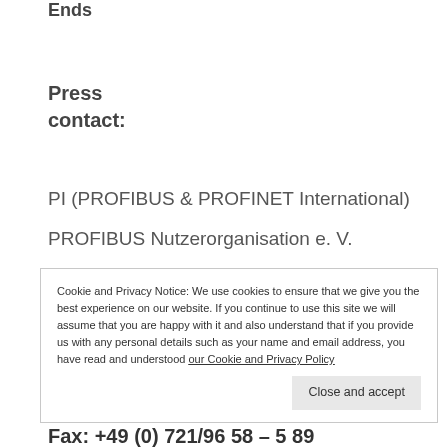Ends
Press contact:
PI (PROFIBUS & PROFINET International)
PROFIBUS Nutzerorganisation e. V.
Cookie and Privacy Notice: We use cookies to ensure that we give you the best experience on our website. If you continue to use this site we will assume that you are happy with it and also understand that if you provide us with any personal details such as your name and email address, you have read and understood our Cookie and Privacy Policy
Close and accept
Fax: +49 (0) 721/96 58 – 5 89